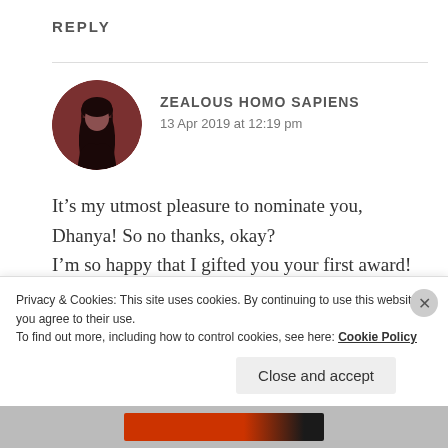REPLY
ZEALOUS HOMO SAPIENS
13 Apr 2019 at 12:19 pm
It’s my utmost pleasure to nominate you, Dhanya! So no thanks, okay?
I’m so happy that I gifted you your first award!
❤
Same goes for you, keep wielding your pen and
Privacy & Cookies: This site uses cookies. By continuing to use this website, you agree to their use.
To find out more, including how to control cookies, see here: Cookie Policy
Close and accept